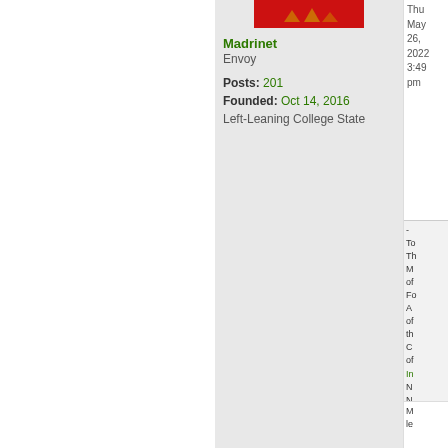[Figure (illustration): Red avatar/banner image for user Madrinet]
Madrinet
Envoy
Posts: 201
Founded: Oct 14, 2016
Left-Leaning College State
Thu May 26, 2022 3:49 pm
To
Th
M
of
Fo
A
of
th
C
of
In
N
N
IN
M
le